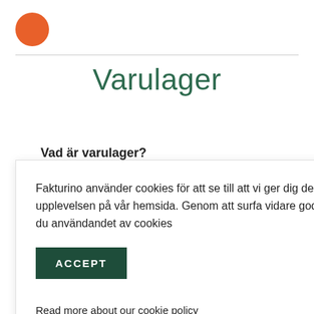[Figure (logo): Orange circle logo in top left corner]
Varulager
Vad är varulager?
ni. eller varor, t beräknas ar som det utförs t veta hur
Fakturino använder cookies för att se till att vi ger dig den bästa upplevelsen på vår hemsida. Genom att surfa vidare godkänner du användandet av cookies
ACCEPT
Read more about our cookie policy